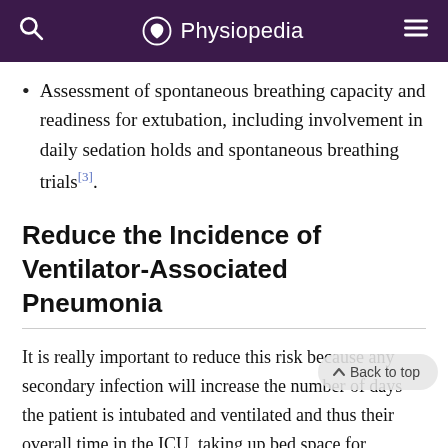Physiopedia
Assessment of spontaneous breathing capacity and readiness for extubation, including involvement in daily sedation holds and spontaneous breathing trials[3].
Reduce the Incidence of Ventilator-Associated Pneumonia
It is really important to reduce this risk because any secondary infection will increase the number of days the patient is intubated and ventilated and thus their overall time in the ICU, taking up bed space for